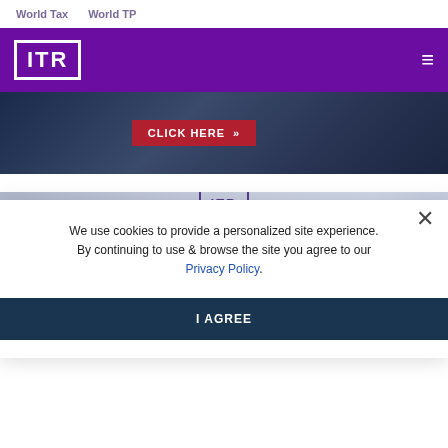World Tax    World TP
[Figure (logo): ITR logo in white on purple header bar with hamburger menu icon]
[Figure (photo): Dark blue banner image with CLICK HERE >> red button]
[Figure (screenshot): Asia Tax Forum 2022 banner with ITR logo, Singapore | Hybrid Event text, and REGISTER NOW button, partially obscured by cookie modal]
We use cookies to provide a personalized site experience. By continuing to use & browse the site you agree to our Privacy Policy.
I AGREE